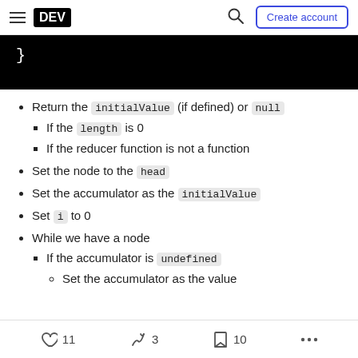DEV | Create account
[Figure (screenshot): Black code block showing closing brace '}']
Return the initialValue (if defined) or null
If the length is 0
If the reducer function is not a function
Set the node to the head
Set the accumulator as the initialValue
Set i to 0
While we have a node
If the accumulator is undefined
Set the accumulator as the value
11 likes  3 unicorns  10 bookmarks